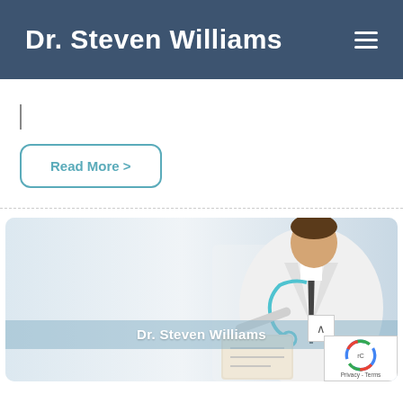Dr. Steven Williams
|
Read More >
[Figure (photo): Doctor in white coat with stethoscope holding a clipboard/folder, with name overlay 'Dr. Steven Williams']